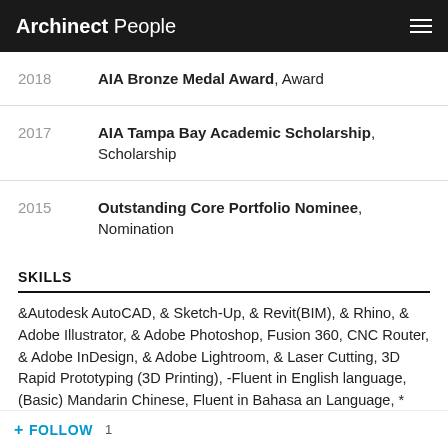Archinect People
2018 — AIA Bronze Medal Award, Award
2017 — AIA Tampa Bay Academic Scholarship, Scholarship
2015 — Outstanding Core Portfolio Nominee, Nomination
SKILLS
&Autodesk AutoCAD, & Sketch-Up, & Revit(BIM), & Rhino, & Adobe Illustrator, & Adobe Photoshop, Fusion 360, CNC Router, & Adobe InDesign, & Adobe Lightroom, & Laser Cutting, 3D Rapid Prototyping (3D Printing), -Fluent in English language, (Basic) Mandarin Chinese, Fluent in Bahasa an Language, * Excellent problem solving abilities detail oriented, *Confident and self motivated team